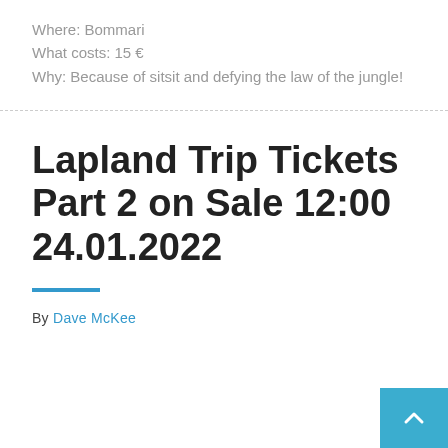Where: Bommari
What costs: 15 €
Why: Because of sitsit and defying the law of the jungle!
Lapland Trip Tickets Part 2 on Sale 12:00 24.01.2022
By Dave McKee